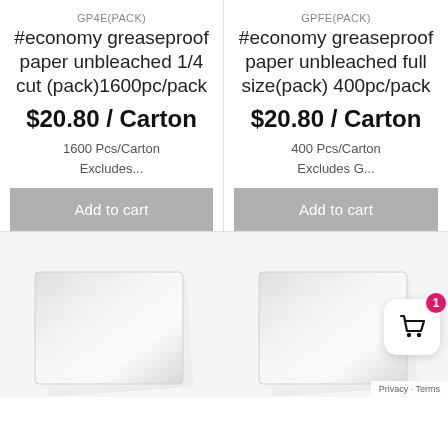GP4E(PACK)
#economy greaseproof paper unbleached 1/4 cut (pack)1600pc/pack
$20.80 / Carton
1600 Pcs/Carton
Excludes...
Add to cart
GPFE(PACK)
#economy greaseproof paper unbleached full size(pack) 400pc/pack
$20.80 / Carton
400 Pcs/Carton
Excludes G...
Add to cart
[Figure (photo): Greaseproof paper product image - white/grey paper sheets fanned out, bottom left]
[Figure (photo): Greaseproof paper product image - white/grey paper sheets fanned out, bottom right]
[Figure (other): Shopping cart icon with badge showing '1', bottom right corner overlay]
Privacy · Terms